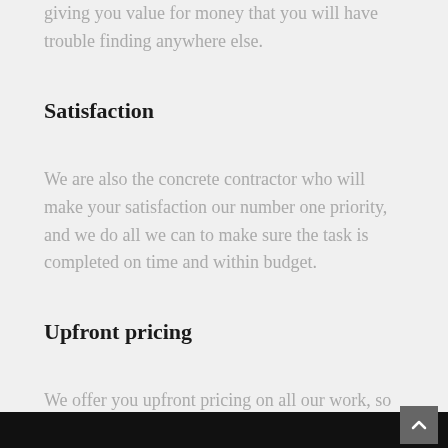giving you value for money that you will have trouble finding anywhere else.
Satisfaction
We are also the concrete contractor who will make your satisfaction our number one priority, and we do all we can to make sure the task is completed on time and within budget.
Upfront pricing
We offer you upfront pricing on all our work, so you don't get any surprise charges along the way.